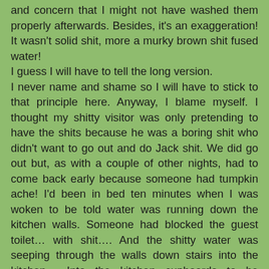and concern that I might not have washed them properly afterwards. Besides, it's an exaggeration! It wasn't solid shit, more a murky brown shit fused water!
I guess I will have to tell the long version.
I never name and shame so I will have to stick to that principle here. Anyway, I blame myself. I thought my shitty visitor was only pretending to have the shits because he was a boring shit who didn't want to go out and do Jack shit. We did go out but, as with a couple of other nights, had to come back early because someone had tumpkin ache! I'd been in bed ten minutes when I was woken to be told water was running down the kitchen walls. Someone had blocked the guest toilet… with shit…. And the shitty water was seeping through the walls down stairs into the kitchen… Into the kitchen cupboards to be precise. To be totally exact, it was filling up £900 worth of champagne flutes and it wasn't with Moet! I was 'lucky' in that the wall cavity and plaster acted as a shit sieve so solid bits didn't get through. It was more a defused eau d' shit water.
White the shitty water filled 5 wall cupboards, 5 draws and 5 floor cupboards, the shitter went to sleep. Worse still, he suggested my 7 year old son had blocked the toilet; A toilet